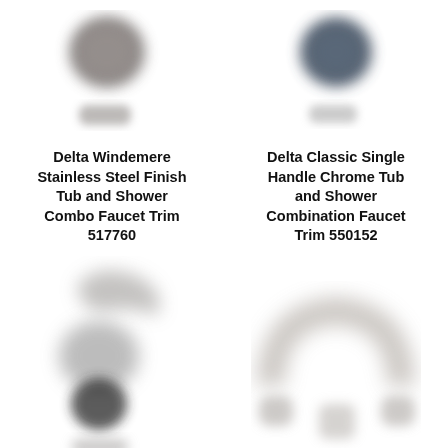[Figure (photo): Product photo of Delta Windemere Stainless Steel Finish Tub and Shower Combo Faucet Trim 517760 — blurred faucet components (round knob top, smaller round piece below)]
[Figure (photo): Product photo of Delta Classic Single Handle Chrome Tub and Shower Combination Faucet Trim 550152 — blurred faucet components (round dark knob top, smaller piece below)]
Delta Windemere Stainless Steel Finish Tub and Shower Combo Faucet Trim 517760
Delta Classic Single Handle Chrome Tub and Shower Combination Faucet Trim 550152
[Figure (photo): Product photo bottom-left — blurred faucet assembly with handle and spout components]
[Figure (photo): Product photo bottom-right — blurred arc faucet with side handles, brushed nickel finish]